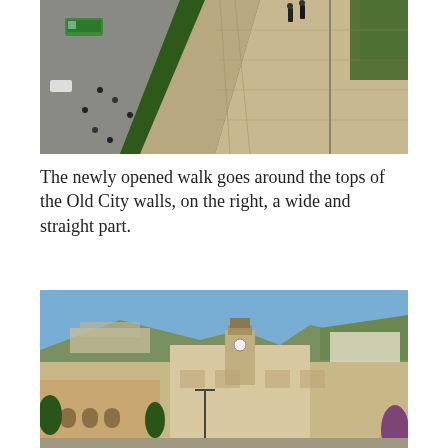[Figure (photo): Aerial view looking down along the top of the Old City walls in Jerusalem. On the left side below the wall is a road with a green bus and pedestrians on a paved area with a green lawn strip. On the right side of the wall top is a stone walkway with a railing and vegetation beyond. Two people are visible walking on the wall top path.]
The newly opened walk goes around the tops of the Old City walls, on the right, a wide and straight part.
[Figure (photo): Cityscape view of Jerusalem showing historic stone buildings in the foreground including a prominent clock tower structure. Behind are hillside neighborhoods and green hills under a clear blue sky.]